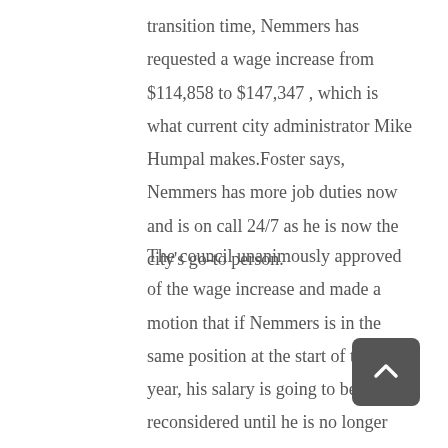transition time, Nemmers has requested a wage increase from $114,858 to $147,347 , which is what current city administrator Mike Humpal makes.Foster says, Nemmers has more job duties now and is on call 24/7 as he is now the city's go-to person.
The council unanimously approved of the wage increase and made a motion that if Nemmers is in the same position at the start of the new year, his salary is going to be reconsidered until he is no longer assigned by the council to perform the duties and responsibilities of city administrator.